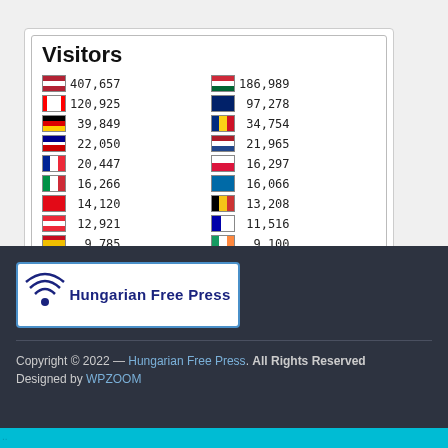[Figure (infographic): Flag Counter widget showing visitor statistics by country. Title: Visitors. Two columns of flag+count rows: US 407,657 | PL 16,297 | HU 186,989 | IT 16,266 | CA 120,925 | SE 16,066 | GB 97,278 | TR 14,120 | DE 39,849 | BE 13,208 | RO 34,754 | AT 12,921 | AU 22,050 | CZ 11,516 | NL 21,965 | ES 9,785 | FR 20,447 | IE 9,100. Brand: FLAG counter.]
[Figure (logo): Hungarian Free Press logo banner with circular signal icon on blue and white background.]
Copyright © 2022 — Hungarian Free Press. All Rights Reserved Designed by WPZOOM